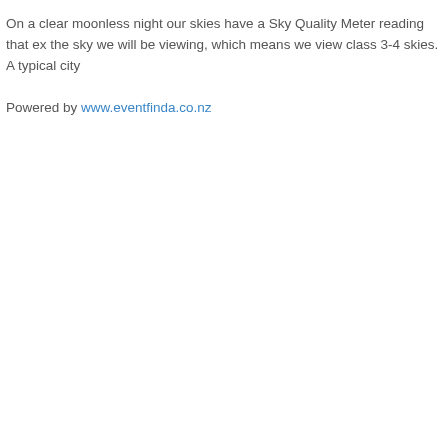On a clear moonless night our skies have a Sky Quality Meter reading that ex... the sky we will be viewing, which means we view class 3-4 skies. A typical city...
Powered by www.eventfinda.co.nz